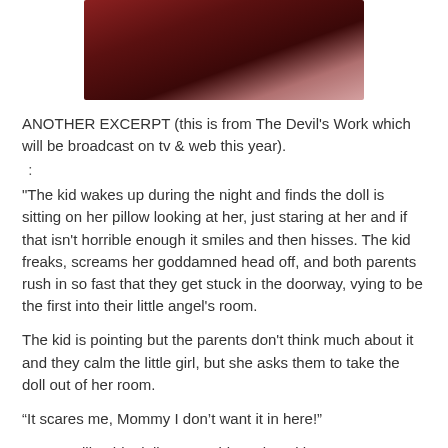[Figure (photo): Partial photo of a doll or figure with dark reddish-brown hair, cropped at the top of the page]
ANOTHER EXCERPT (this is from The Devil's Work which will be broadcast on tv & web this year).
 :
"The kid wakes up during the night and finds the doll is sitting on her pillow looking at her, just staring at her and if that isn't horrible enough it smiles and then hisses. The kid freaks, screams her goddamned head off, and both parents rush in so fast that they get stuck in the doorway, vying to be the first into their little angel's room.
The kid is pointing but the parents don't think much about it and they calm the little girl, but she asks them to take the doll out of her room.
“It scares me, Mommy I don’t want it in here!”
“But you like this dolly, you said you loved her!”